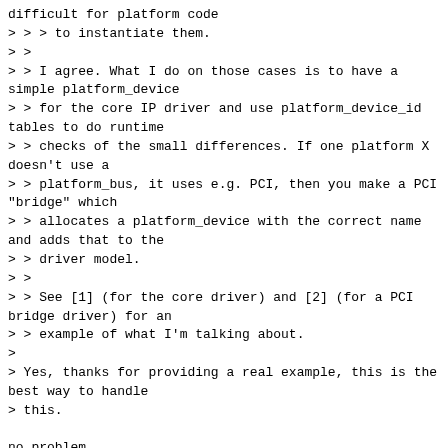difficult for platform code
> > > to instantiate them.
> >
> > I agree. What I do on those cases is to have a simple platform_device
> > for the core IP driver and use platform_device_id tables to do runtime
> > checks of the small differences. If one platform X doesn't use a
> > platform_bus, it uses e.g. PCI, then you make a PCI "bridge" which
> > allocates a platform_device with the correct name and adds that to the
> > driver model.
> >
> > See [1] (for the core driver) and [2] (for a PCI bridge driver) for an
> > example of what I'm talking about.
>
> Yes, thanks for providing a real example, this is the best way to handle
> this.

no problem.

ps: that's the driver for the USB3 controller which will come on OMAP5.
Driver being validate on a pre-silicon platform right now :-D In a few
weeks I'll send the driver for integration.